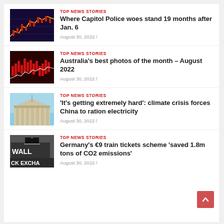[Figure (screenshot): News thumbnail 1: stock market chart with red and yellow lines on dark background]
TOP NEWS STORIES
Where Capitol Police woes stand 19 months after Jan. 6
August 30, 2022 /
[Figure (screenshot): News thumbnail 2: red stock market chart with candlesticks on dark background]
TOP NEWS STORIES
Australia's best photos of the month – August 2022
August 30, 2022 /
[Figure (screenshot): News thumbnail 3: classical building with columns, blue sky]
TOP NEWS STORIES
'It's getting extremely hard': climate crisis forces China to ration electricity
August 30, 2022 /
[Figure (screenshot): News thumbnail 4: Wall Street Exchange sign]
TOP NEWS STORIES
Germany's €9 train tickets scheme 'saved 1.8m tons of CO2 emissions'
August 30, 2022 /